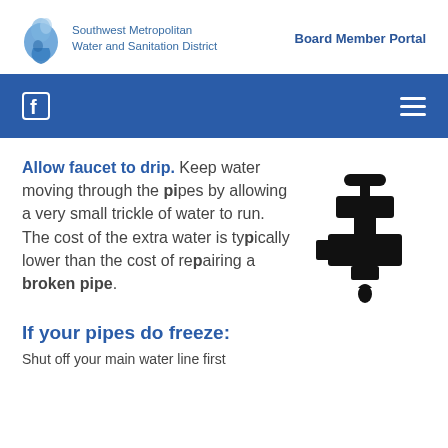[Figure (logo): Southwest Metropolitan Water and Sanitation District logo with water droplet graphic]
Board Member Portal
[Figure (screenshot): Blue navigation bar with Facebook icon on left and hamburger menu on right]
Allow faucet to drip. Keep water moving through the pipes by allowing a very small trickle of water to run. The cost of the extra water is typically lower than the cost of repairing a broken pipe.
[Figure (illustration): Black silhouette icon of a dripping faucet/tap]
If your pipes do freeze:
Shut off your main water line first